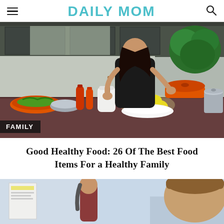DAILY MOM
[Figure (photo): Woman cooking in a modern kitchen with vegetables, lemons, and pots on the counter. Orange cookware visible. Dark granite countertop.]
Good Healthy Food: 26 Of The Best Food Items For a Healthy Family
[Figure (photo): Two people in a light blue room, partially visible at the bottom of the page.]